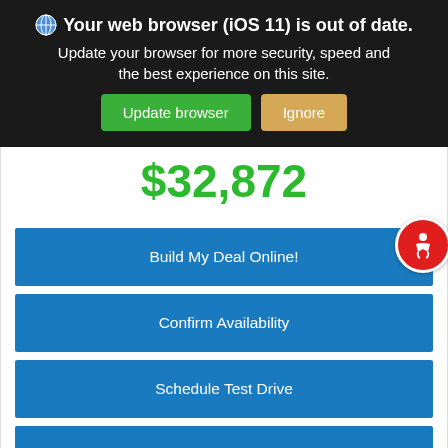Your web browser (iOS 11) is out of date. Update your browser for more security, speed and the best experience on this site. Update browser | Ignore
$32,872
Build My Deal Online!
Confirm Availability
Schedule Test Drive
Value Your Trade
Filter 34 Results ^